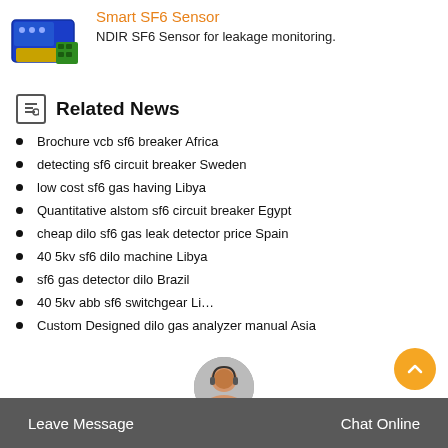[Figure (photo): Blue NDIR SF6 sensor device with green terminal connectors]
Smart SF6 Sensor
NDIR SF6 Sensor for leakage monitoring.
Related News
Brochure vcb sf6 breaker Africa
detecting sf6 circuit breaker Sweden
low cost sf6 gas having Libya
Quantitative alstom sf6 circuit breaker Egypt
cheap dilo sf6 gas leak detector price Spain
40 5kv sf6 dilo machine Libya
sf6 gas detector dilo Brazil
40 5kv abb sf6 switchgear Libya
Custom Designed dilo gas analyzer manual Asia
Leave Message    Chat Online